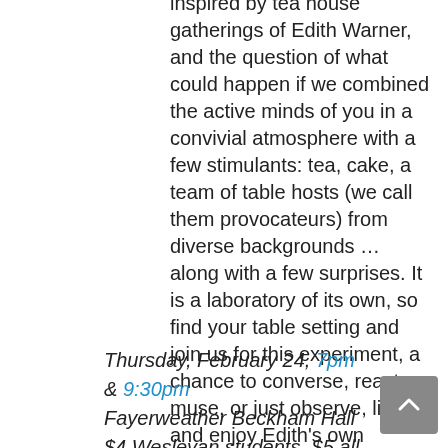inspired by tea house gatherings of Edith Warner, and the question of what could happen if we combined the active minds of you in a convivial atmosphere with a few stimulants: tea, cake, a team of table hosts (we call them provocateurs) from diverse backgrounds ... along with a few surprises. It is a laboratory of its own, so find your table setting and join us for this experiment, a chance to converse, react, muse, or just observe, listen and enjoy Edith's own chocolate cake recipe.
Thursday, February 24, 7pm & 9:30pm Fayerweather Beckham Hall $4 Wesleyan students, $5 all others